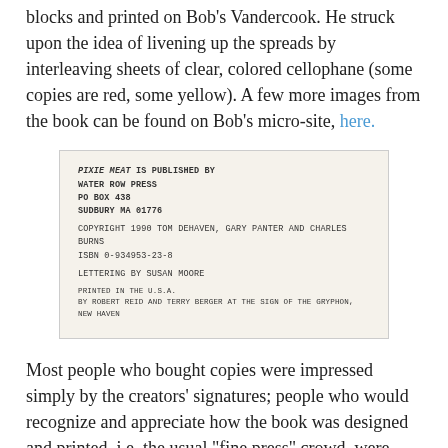blocks and printed on Bob's Vandercook. He struck upon the idea of livening up the spreads by interleaving sheets of clear, colored cellophane (some copies are red, some yellow). A few more images from the book can be found on Bob's micro-site, here.
[Figure (photo): Colophon page from Pixie Meat publication. Text reads: PIXIE MEAT IS PUBLISHED BY WATER ROW PRESS PO BOX 438 SUDBURY MA 01776. COPYRIGHT 1990 TOM DEHAVEN, GARY PANTER AND CHARLES BURNS. ISBN 0-934953-23-8. LETTERING BY SUSAN MOORE. PRINTED IN THE U.S.A. BY ROBERT REID AND TERRY BERGER AT THE SIGN OF THE GRYPHON, NEW HAVEN.]
Most people who bought copies were impressed simply by the creators' signatures; people who would recognize and appreciate how the book was designed and printed, i.e. the usual "fine press" crowd, were much too proper to be interested in the content ("A comic?"). All this reminded us of our own plans to one day do a fine press comic, the narrative taken from a track on MC 900 Ft Jesus' album Hell With the Lid Off (which, coincidentally, features art by Charles Burns on the cover). We'll get to it eventually; have to track down the MC first and got permission. He's been MIA for many